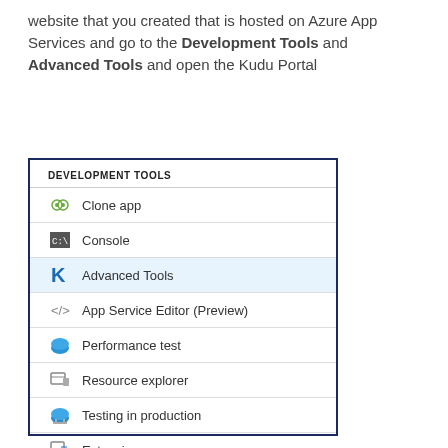website that you created that is hosted on Azure App Services and go to the Development Tools and Advanced Tools and open the Kudu Portal
[Figure (screenshot): Azure portal screenshot showing the Development Tools menu with items: Clone app, Console, Advanced Tools (highlighted in blue), App Service Editor (Preview), Performance test, Resource explorer, Testing in production, Extensions]